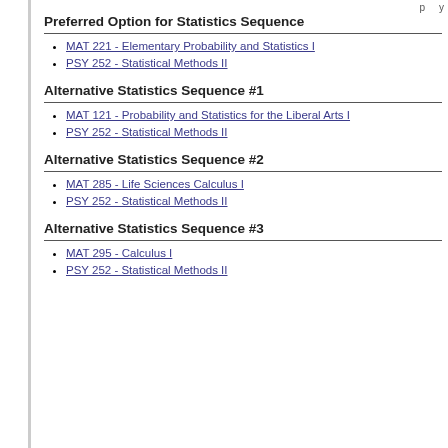Preferred Option for Statistics Sequence
MAT 221 - Elementary Probability and Statistics I
PSY 252 - Statistical Methods II
Alternative Statistics Sequence #1
MAT 121 - Probability and Statistics for the Liberal Arts I
PSY 252 - Statistical Methods II
Alternative Statistics Sequence #2
MAT 285 - Life Sciences Calculus I
PSY 252 - Statistical Methods II
Alternative Statistics Sequence #3
MAT 295 - Calculus I
PSY 252 - Statistical Methods II